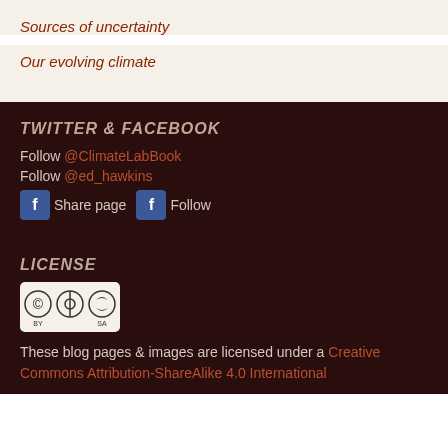Sources of uncertainty
Our evolving climate
TWITTER & FACEBOOK
Follow @ClimateLabBook
Follow @ed_hawkins
Share page  Follow
LICENSE
[Figure (logo): Creative Commons CC BY SA badge]
These blog pages & images are licensed under a Creative Commons Attribution-ShareAlike 4.0 International license